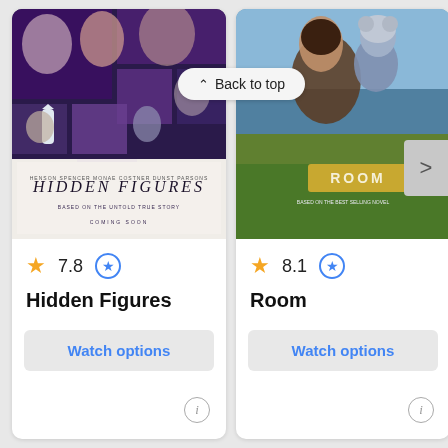[Figure (screenshot): Movie card for Hidden Figures showing film poster collage with cast]
7.8
Hidden Figures
Watch options
[Figure (screenshot): Movie card for Room showing mother and child on film poster]
8.1
Room
Watch options
[Figure (screenshot): Partially visible third movie card showing rating 8. and title starting with 12 Y]
Back to top